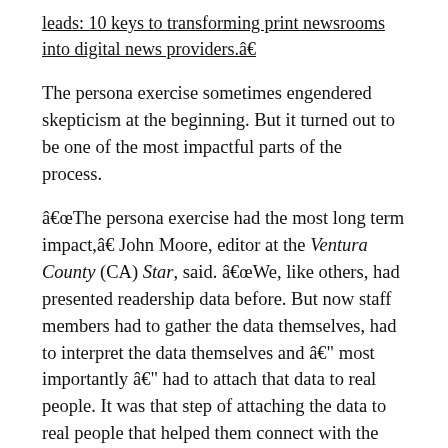leads: 10 keys to transforming print newsrooms into digital news providers.â
The persona exercise sometimes engendered skepticism at the beginning. But it turned out to be one of the most impactful parts of the process.
âThe persona exercise had the most long term impact,â John Moore, editor at the Ventura County (CA) Star, said. âWe, like others, had presented readership data before. But now staff members had to gather the data themselves, had to interpret the data themselves and â most importantly â had to attach that data to real people. It was that step of attaching the data to real people that helped them connect with the readers for their franchise.
The company provided the staff teams with local consumer research that illuminated how different